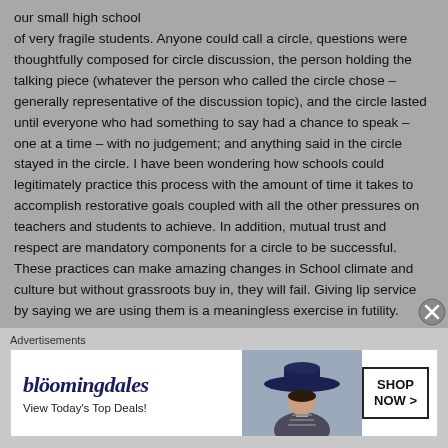our small high school of very fragile students. Anyone could call a circle, questions were thoughtfully composed for circle discussion, the person holding the talking piece (whatever the person who called the circle chose – generally representative of the discussion topic), and the circle lasted until everyone who had something to say had a chance to speak – one at a time – with no judgement; and anything said in the circle stayed in the circle. I have been wondering how schools could legitimately practice this process with the amount of time it takes to accomplish restorative goals coupled with all the other pressures on teachers and students to achieve. In addition, mutual trust and respect are mandatory components for a circle to be successful. These practices can make amazing changes in School climate and culture but without grassroots buy in, they will fail. Giving lip service by saying we are using them is a meaningless exercise in futility.
Advertisements
[Figure (other): Bloomingdales advertisement banner with logo, 'View Today's Top Deals!' tagline, woman wearing wide-brim hat, and 'SHOP NOW >' button]